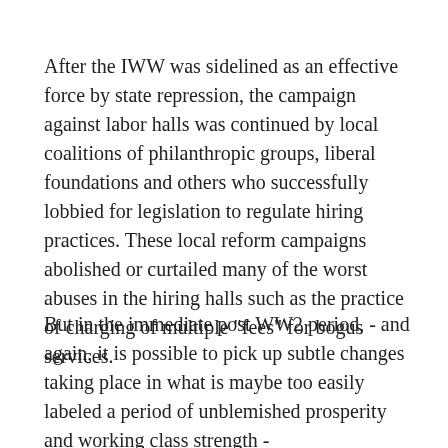After the IWW was sidelined as an effective force by state repression, the campaign against labor halls was continued by local coalitions of philanthropic groups, liberal foundations and others who successfully lobbied for legislation to regulate hiring practices. These local reform campaigns abolished or curtailed many of the worst abuses in the hiring halls such as the practice of charging of multiple "fees" for bogus services.
But in the immediate post WW2 period, - and again, it is possible to pick up subtle changes taking place in what is maybe too easily labeled a period of unblemished prosperity and working class strength -